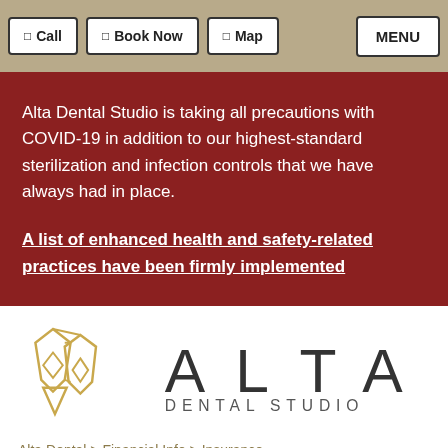Call | Book Now | Map | MENU
Alta Dental Studio is taking all precautions with COVID-19 in addition to our highest-standard sterilization and infection controls that we have always had in place.
A list of enhanced health and safety-related practices have been firmly implemented
[Figure (logo): Alta Dental Studio logo — geometric tooth/crystal shape in gold lines with text ALTA DENTAL STUDIO]
Alta Dental > Financial Info > Insurance